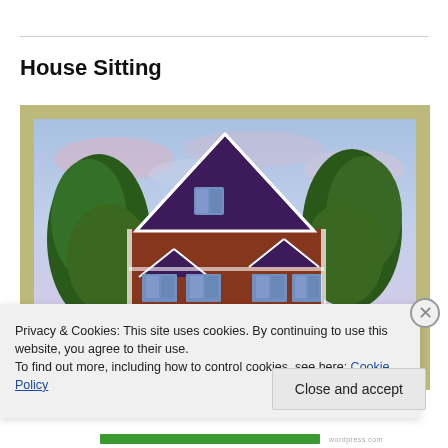House Sitting
[Figure (illustration): A framed painting of a large two-story brick house with a dark triangular roof, white trim, flanked by green trees on both sides, set against a blue-pink cloudy sky. The frame is a textured golden-olive color.]
Privacy & Cookies: This site uses cookies. By continuing to use this website, you agree to their use.
To find out more, including how to control cookies, see here: Cookie Policy
Close and accept